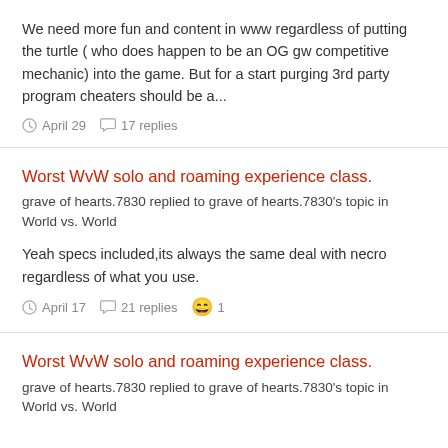We need more fun and content in www regardless of putting the turtle ( who does happen to be an OG gw competitive mechanic) into the game. But for a start purging 3rd party program cheaters should be a...
April 29   17 replies
Worst WvW solo and roaming experience class.
grave of hearts.7830 replied to grave of hearts.7830's topic in World vs. World
Yeah specs included,its always the same deal with necro regardless of what you use.
April 17   21 replies   😄 1
Worst WvW solo and roaming experience class.
grave of hearts.7830 replied to grave of hearts.7830's topic in World vs. World